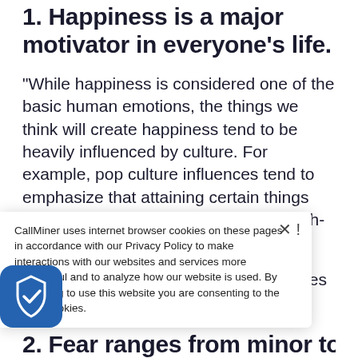1. Happiness is a major motivator in everyone's life.
“While happiness is considered one of the basic human emotions, the things we think will create happiness tend to be heavily influenced by culture. For example, pop culture influences tend to emphasize that attaining certain things such as buying a home or having a high-paying job will result in happiness.
“The realities of what actually contributes to happiness are often much more complex and
CallMiner uses internet browser cookies on these pages in accordance with our Privacy Policy to make interactions with our websites and services more meaningful and to analyze how our website is used. By continuing to use this website you are consenting to the use of cookies.
2. Fear ranges from minor to serious.